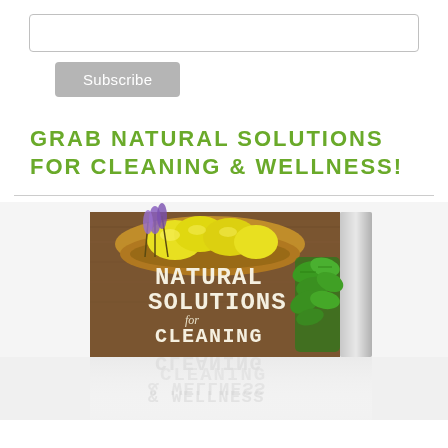[Figure (other): Input text field (subscribe form)]
Subscribe
GRAB NATURAL SOLUTIONS FOR CLEANING & WELLNESS!
[Figure (photo): Book cover image for 'Natural Solutions for Cleaning & Wellness' showing lemons, lavender, mint herbs on a wooden surface, with a reflection below showing 'CLEANING & WELLNESS' text mirrored]